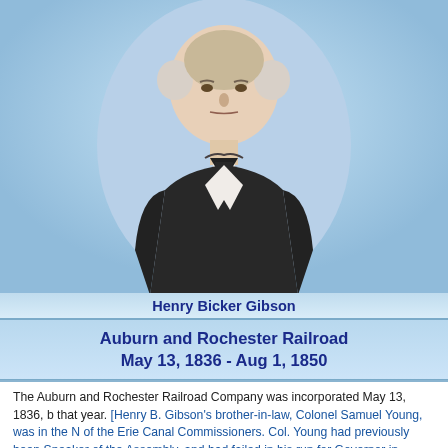[Figure (illustration): Portrait illustration of Henry Bicker Gibson, an older man in formal 19th century attire with dark coat and white cravat, against a light blue background.]
Henry Bicker Gibson
Auburn and Rochester Railroad
May 13, 1836 - Aug 1, 1850
The Auburn and Rochester Railroad Company was incorporated May 13, 1836, b that year. [Henry B. Gibson's brother-in-law, Colonel Samuel Young, was in the of the Erie Canal Commissioners. Col. Young had previously been Speaker of the Assembly, and had failed in his run for Governor in 1824.] In one respect at least most other special acts of incorporation. The usual practice was to designate the termini of the road were to be located and allow the directors of the Company to